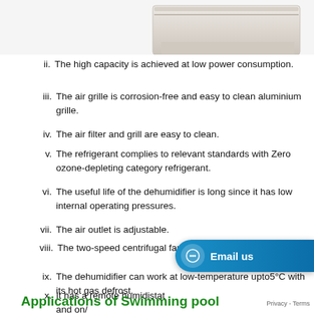[Figure (photo): Partial view of a white/beige dehumidifier appliance unit from above/side angle]
ii. The high capacity is achieved at low power consumption.
iii. The air grille is corrosion-free and easy to clean aluminium grille.
iv. The air filter and grill are easy to clean.
v. The refrigerant complies to relevant standards with Zero ozone-depleting category refrigerant.
vi. The useful life of the dehumidifier is long since it has low internal operating pressures.
vii. The air outlet is adjustable.
viii. The two-speed centrifugal fans have quiet operation.
ix. The dehumidifier can work at low-temperature upto5°C with its hot gas defrost.
x. It has a remote humidistat and on/...
Applications of Swimming pool